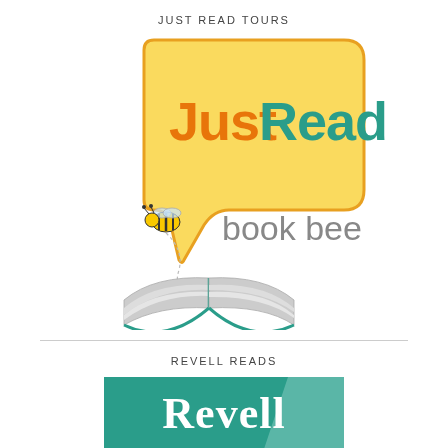JUST READ TOURS
[Figure (logo): JustRead Book Bee logo: a yellow speech bubble with 'JustRead' text in orange and teal, a cartoon bee, an open book illustration, and tagline 'buzzing about books | justreadtours.com']
REVELL READS
[Figure (logo): Revell publisher logo: teal/green rectangle with white bold serif 'Revell' text and a lighter teal highlight stripe]